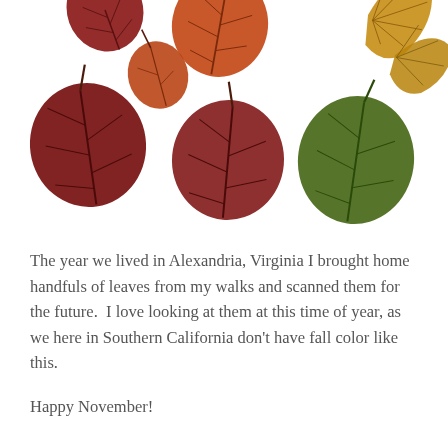[Figure (photo): A flat-lay photograph of autumn leaves in various colors — deep red, orange, green, and golden yellow — scattered on a white background. The leaves are round/heart-shaped, resembling aspen or similar deciduous tree leaves, with visible veins and stems.]
The year we lived in Alexandria, Virginia I brought home handfuls of leaves from my walks and scanned them for the future.  I love looking at them at this time of year, as we here in Southern California don't have fall color like this.
Happy November!